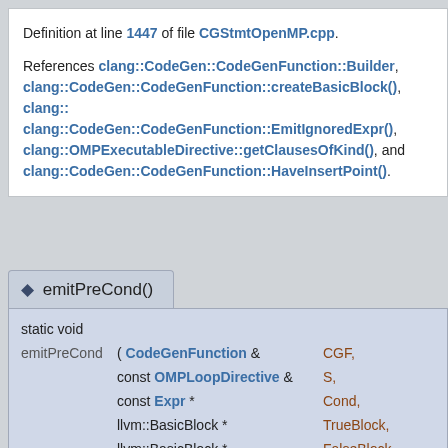Definition at line 1447 of file CGStmtOpenMP.cpp.
References clang::CodeGen::CodeGenFunction::Builder, clang::CodeGen::CodeGenFunction::createBasicBlock(), clang:: clang::CodeGen::CodeGenFunction::EmitIgnoredExpr(), clang::OMPExecutableDirective::getClausesOfKind(), and clang::CodeGen::CodeGenFunction::HaveInsertPoint().
◆ emitPreCond()
|  | Parameters |  |
| --- | --- | --- |
| static void |  |  |
| emitPreCond | ( CodeGenFunction & | CGF, |
|  | const OMPLoopDirective & | S, |
|  | const Expr * | Cond, |
|  | llvm::BasicBlock * | TrueBlock, |
|  | llvm::BasicBlock * | FalseBlock, |
|  | uint64_t | TrueCount |